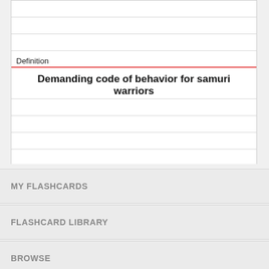Definition
Demanding code of behavior for samuri warriors
MY FLASHCARDS
FLASHCARD LIBRARY
BROWSE